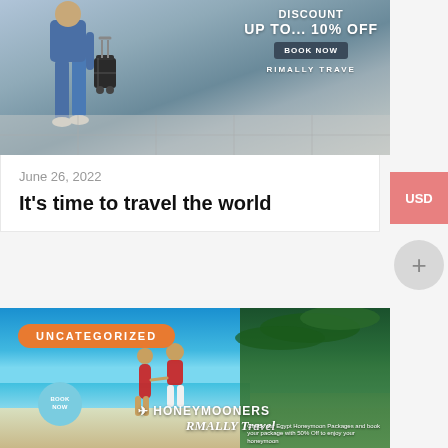[Figure (photo): Travel photo showing person walking with luggage in airport, with text overlay: DISCOUNT UP TO... 10% OFF, BOOK NOW, RIMALLY TRAVE]
June 26, 2022
It's time to travel the world
[Figure (photo): Beach honeymoon photo with couple in red clothing walking on beach with palm trees, UNCATEGORIZED badge, HONEYMOONERS RMALLY Travel overlay with BOOK NOW circle button]